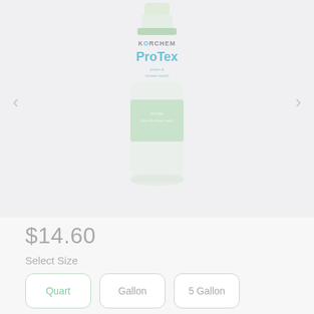[Figure (photo): Product photo of KorChem ProTex press & screen wash bottle, showing a white plastic bottle with green label reading KORCHEM ProTex press & screen wash]
$14.60
Select Size
Quart
Gallon
5 Gallon